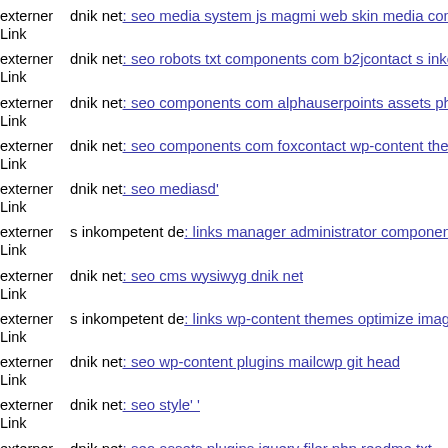externer Link dnik net: seo media system js magmi web skin media comp
externer Link dnik net: seo robots txt components com b2jcontact s inkon
externer Link dnik net: seo components com alphauserpoints assets phpth
externer Link dnik net: seo components com foxcontact wp-content theme
externer Link dnik net: seo mediasd'
externer Link s inkompetent de: links manager administrator components
externer Link dnik net: seo cms wysiwyg dnik net
externer Link s inkompetent de: links wp-content themes optimize images
externer Link dnik net: seo wp-content plugins mailcwp git head
externer Link dnik net: seo style' '
externer Link dnik net: seo assets plugins jquery filer php readme txt
externer